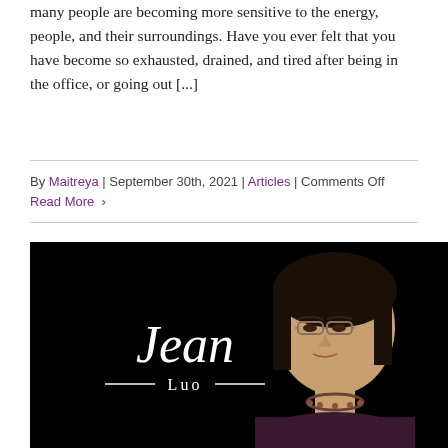many people are becoming more sensitive to the energy, people, and their surroundings. Have you ever felt that you have become so exhausted, drained, and tired after being in the office, or going out [...]
By Maitreya | September 30th, 2021 | Articles | Comments Off
Read More >
[Figure (photo): Photo of Jean Luo on a black background with her name displayed as 'Jean' in large text and '— Luo —' below it. Jean Luo is an Asian woman with glasses and dark hair, wearing a dark top with a necklace.]